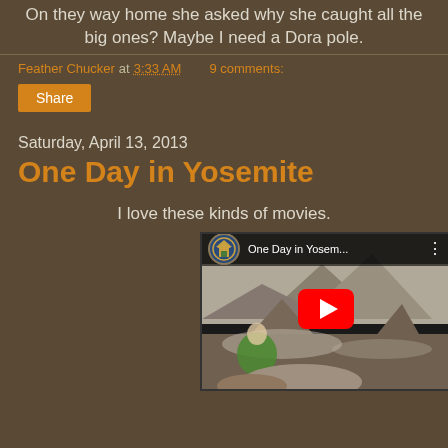On they way home she asked why she caught all the big ones? Maybe I need a Dora pole.
Feather Chucker at 3:33 AM   9 comments:
Share
Saturday, April 13, 2013
One Day in Yosemite
I love these kinds of movies.
[Figure (screenshot): YouTube video embed thumbnail showing 'One Day in Yosem...' with National Park Service arrowhead logo, a person in a green jacket on rocky terrain with mountains in background, red YouTube play button in center]